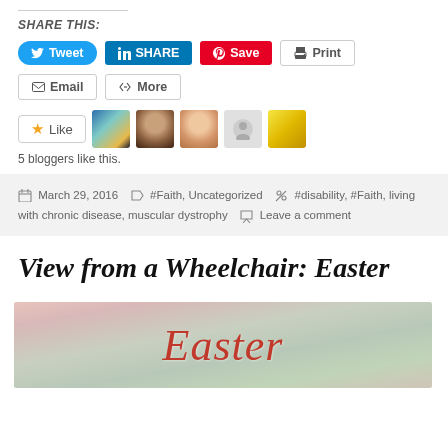SHARE THIS:
Tweet  SHARE  Save  Print  Email  More
Like  [blogger avatars]  5 bloggers like this.
March 29, 2016  #Faith, Uncategorized  #disability, #Faith, living with chronic disease, muscular dystrophy  Leave a comment
View from a Wheelchair: Easter
[Figure (photo): Easter themed photo with pink/green floral background and the word 'Easter' in red italic text]